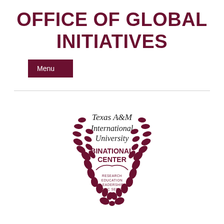OFFICE OF GLOBAL INITIATIVES
Menu
[Figure (logo): Texas A&M International University Binational Center logo with laurel wreath and text: RESEARCH, EDUCATION, LEADERSHIP, PUBLIC SERVICE]